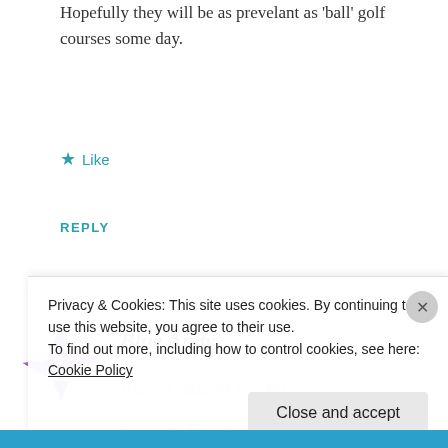Hopefully they will be as prevelant as 'ball' golf courses some day.
Like
REPLY
[Figure (illustration): Purple geometric snowflake/pinwheel avatar icon for user Blue Andy]
Blue Andy
JULY 24, 2012 AT 5:10 PM
I am exiled here in Atlanta, GA there are 12
Privacy & Cookies: This site uses cookies. By continuing to use this website, you agree to their use. To find out more, including how to control cookies, see here: Cookie Policy
Close and accept